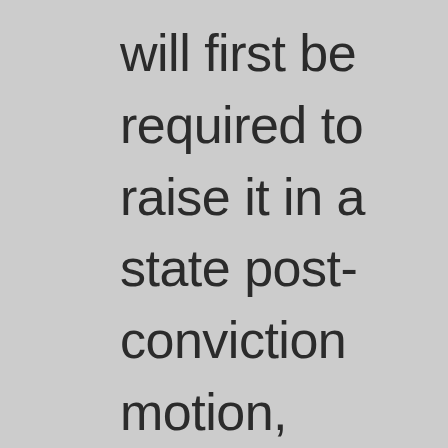will first be required to raise it in a state post-conviction motion, and then